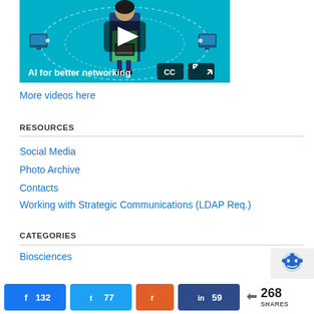[Figure (screenshot): Video thumbnail showing a woman with text 'AI for better networking' on a teal background with a play button, CC and fullscreen controls]
More videos here
RESOURCES
Social Media
Photo Archive
Contacts
Working with Strategic Communications (LDAP Req.)
CATEGORIES
Biosciences
[Figure (infographic): Social share bar showing Facebook 132, Twitter 77, Reddit, LinkedIn 59, and 268 SHARES]